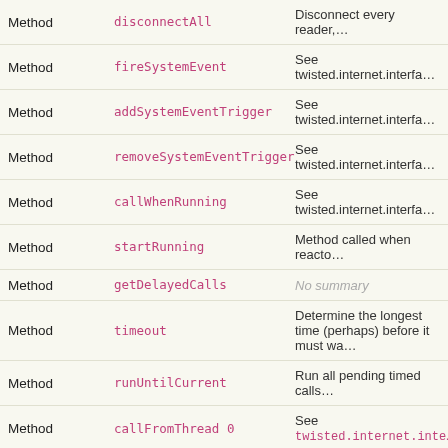| Type | Name | Description |
| --- | --- | --- |
| Method | disconnectAll | Disconnect every reader,… |
| Method | fireSystemEvent | See twisted.internet.interfa… |
| Method | addSystemEventTrigger | See twisted.internet.interfa… |
| Method | removeSystemEventTrigger | See twisted.internet.interfa… |
| Method | callWhenRunning | See twisted.internet.interfa… |
| Method | startRunning | Method called when reacto… |
| Method | getDelayedCalls | No summary |
| Method | timeout | Determine the longest time (perhaps) before it must wa… |
| Method | runUntilCurrent | Run all pending timed calls… |
| Method | callFromThread 0 | See twisted.internet.inte… |
| Method | getThreadPool | See twisted.internet…. |
| Method | callInThread | See twisted.internet…. |
| Show Private API |  |  |
| Method | suggestThreadPoolSize | See twisted.internet…. |